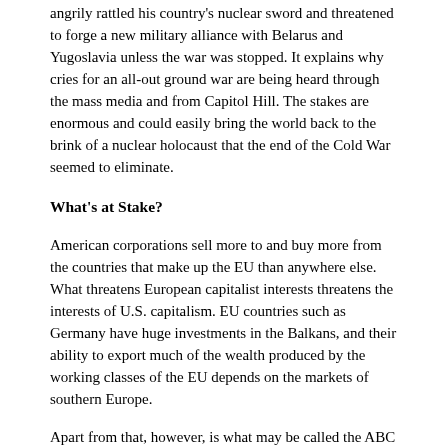angrily rattled his country's nuclear sword and threatened to forge a new military alliance with Belarus and Yugoslavia unless the war was stopped. It explains why cries for an all-out ground war are being heard through the mass media and from Capitol Hill. The stakes are enormous and could easily bring the world back to the brink of a nuclear holocaust that the end of the Cold War seemed to eliminate.
What's at Stake?
American corporations sell more to and buy more from the countries that make up the EU than anywhere else. What threatens European capitalist interests threatens the interests of U.S. capitalism. EU countries such as Germany have huge investments in the Balkans, and their ability to export much of the wealth produced by the working classes of the EU depends on the markets of southern Europe.
Apart from that, however, is what may be called the ABC line of access to the enormous oil reserves of the Caspian Basin. That strategic line runs from the Adriatic Sea that washes the West Coast of the Balkan Peninsula across the Black Sea to the oil-rich Caspian Sea. Control over the Caspian oil fields may well depend on who—the U.S.-EU-NATO alliance or Russia—dominates Yugoslavia and the Balkans. That is why the 50-year-old NATO